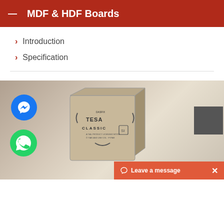MDF & HDF Boards
Introduction
Specification
[Figure (photo): Photo of a TESA Classic MDF/HDF board product box with Facebook Messenger and WhatsApp floating icons, and a 'Leave a message' chat widget at the bottom right]